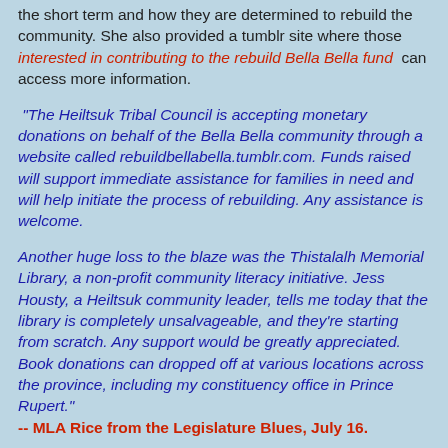the short term and how they are determined to rebuild the community. She also provided a tumblr site where those interested in contributing to the rebuild Bella Bella fund  can access more information.
"The Heiltsuk Tribal Council is accepting monetary donations on behalf of the Bella Bella community through a website called rebuildbellabella.tumblr.com. Funds raised will support immediate assistance for families in need and will help initiate the process of rebuilding. Any assistance is welcome.
Another huge loss to the blaze was the Thistalalh Memorial Library, a non-profit community literacy initiative. Jess Housty, a Heiltsuk community leader, tells me today that the library is completely unsalvageable, and they're starting from scratch. Any support would be greatly appreciated. Book donations can dropped off at various locations across the province, including my constituency office in Prince Rupert."
-- MLA Rice from the Legislature Blues, July 16.
You can review her entire presentation on the Bella Bella fire